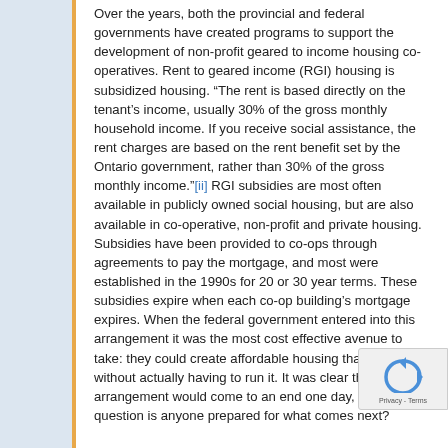Over the years, both the provincial and federal governments have created programs to support the development of non-profit geared to income housing co-operatives. Rent to geared income (RGI) housing is subsidized housing. “The rent is based directly on the tenant's income, usually 30% of the gross monthly household income. If you receive social assistance, the rent charges are based on the rent benefit set by the Ontario government, rather than 30% of the gross monthly income.”[ii] RGI subsidies are most often available in publicly owned social housing, but are also available in co-operative, non-profit and private housing. Subsidies have been provided to co-ops through agreements to pay the mortgage, and most were established in the 1990s for 20 or 30 year terms. These subsidies expire when each co-op building's mortgage expires. When the federal government entered into this arrangement it was the most cost effective avenue to take: they could create affordable housing that works without actually having to run it. It was clear that this arrangement would come to an end one day, the question is anyone prepared for what comes next?